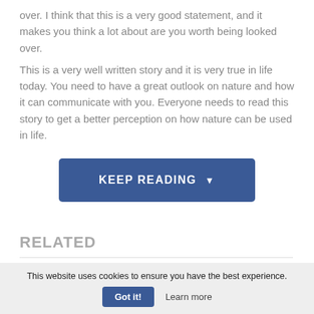over. I think that this is a very good statement, and it makes you think a lot about are you worth being looked over.
This is a very well written story and it is very true in life today. You need to have a great outlook on nature and how it can communicate with you. Everyone needs to read this story to get a better perception on how nature can be used in life.
[Figure (other): A blue button labeled KEEP READING with a downward arrow]
RELATED
This website uses cookies to ensure you have the best experience.
Got it!   Learn more